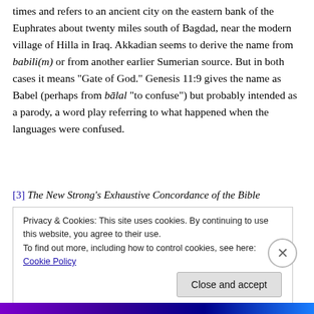times and refers to an ancient city on the eastern bank of the Euphrates about twenty miles south of Bagdad, near the modern village of Hilla in Iraq. Akkadian seems to derive the name from babili(m) or from another earlier Sumerian source. But in both cases it means “Gate of God.” Genesis 11:9 gives the name as Babel (perhaps from bālal “to confuse”) but probably intended as a parody, a word play referring to what happened when the languages were confused.
[3] The New Strong’s Exhaustive Concordance of the Bible
Privacy & Cookies: This site uses cookies. By continuing to use this website, you agree to their use.
To find out more, including how to control cookies, see here: Cookie Policy
Close and accept